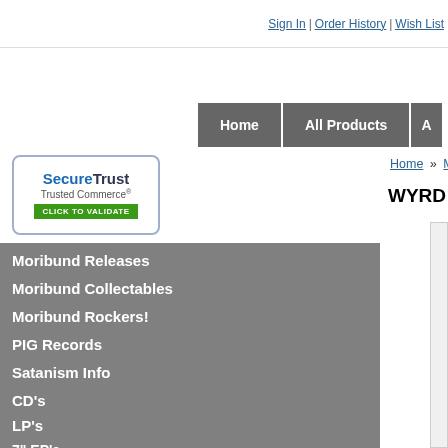Sign In | Order History | Wish List
[Figure (screenshot): Navigation bar with Home and All Products buttons on gray background]
[Figure (logo): SecureTrust Trusted Commerce - Click To Validate badge]
Moribund Releases
Moribund Collectables
Moribund Rockers!
PIG Records
Satanism Info
CD's
LP's
7" EP's
DVD & Video
Demo's & Cassettes
Home » Moribund Releases » WYRD "Death Of T
WYRD "Death Of The Sun" CD